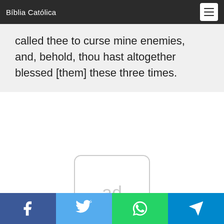Bíblia Católica
called thee to curse mine enemies, and, behold, thou hast altogether blessed [them] these three times.
[Figure (other): Advertisement placeholder box with 'ad' text]
Social share buttons: Facebook, Twitter, WhatsApp, Telegram